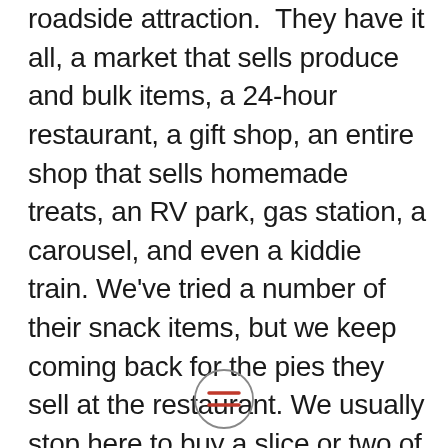roadside attraction. They have it all, a market that sells produce and bulk items, a 24-hour restaurant, a gift shop, an entire shop that sells homemade treats, an RV park, gas station, a carousel, and even a kiddie train. We've tried a number of their snack items, but we keep coming back for the pies they sell at the restaurant. We usually stop here to buy a slice or two of pie and use the restrooms in the restaurant which they keep very clean. The fact that the restaurant is open 24-hours is great when you're driving through here at odd hours.
[Figure (other): Hamburger menu icon — two horizontal lines inside a circle]